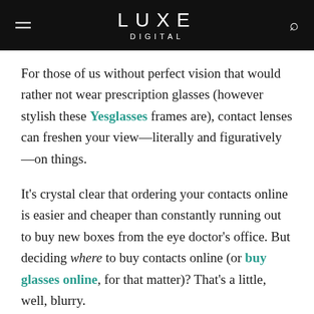LUXE DIGITAL
For those of us without perfect vision that would rather not wear prescription glasses (however stylish these Yesglasses frames are), contact lenses can freshen your view—literally and figuratively—on things.
It's crystal clear that ordering your contacts online is easier and cheaper than constantly running out to buy new boxes from the eye doctor's office. But deciding where to buy contacts online (or buy glasses online, for that matter)? That's a little, well, blurry.
The digital high street counts an eye-watering number of online optical e-tailers, some genuine and others (unfortunately) not so. Don't worry, though—we're here to help you with clear options for convenience, cost savings,